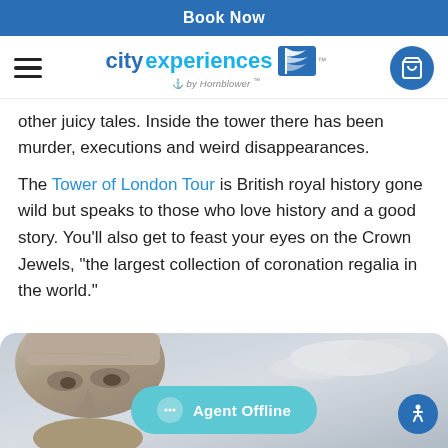Book Now
[Figure (logo): City Experiences by Hornblower logo with flag icon and shopping cart]
other juicy tales. Inside the tower there has been murder, executions and weird disappearances.
The Tower of London Tour is British royal history gone wild but speaks to those who love history and a good story. You’ll also get to feast your eyes on the Crown Jewels, “the largest collection of coronation regalia in the world.”
[Figure (photo): Stone sculpture face (resembling Mount Rushmore) against a cloudy sky, with Agent Offline chat button overlay]